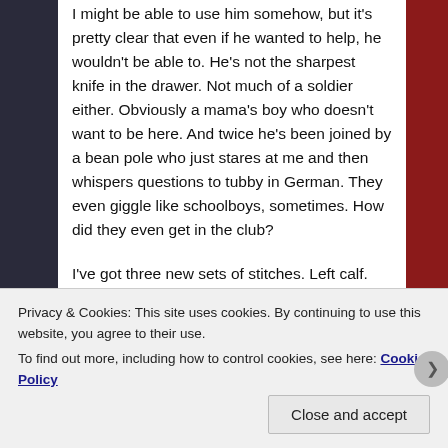I might be able to use him somehow, but it's pretty clear that even if he wanted to help, he wouldn't be able to. He's not the sharpest knife in the drawer. Not much of a soldier either. Obviously a mama's boy who doesn't want to be here. And twice he's been joined by a bean pole who just stares at me and then whispers questions to tubby in German. They even giggle like schoolboys, sometimes. How did they even get in the club?

I've got three new sets of stitches. Left calf. Right thigh. Left forearm. They don't hurt at all and I don't feel anything beneath the skin. I wish I knew what they were doing. I asked the chubby guard, but he just shrugged and whispered that I should be glad that's all they've done to me. Not very comforting.
Privacy & Cookies: This site uses cookies. By continuing to use this website, you agree to their use.
To find out more, including how to control cookies, see here: Cookie Policy